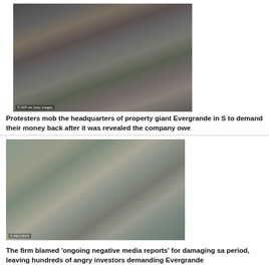[Figure (photo): Crowd of protesters wearing face masks mobbing outside Evergrande headquarters in Shenzhen, some holding umbrellas, with AFP via Getty Images watermark]
Protesters mob the headquarters of property giant Evergrande in S to demand their money back after it was revealed the company owe
[Figure (photo): Group of people wearing face masks standing outside Evergrande headquarters, with Reuters watermark]
The firm blamed 'ongoing negative media reports' for damaging sa period, leaving hundreds of angry investors demanding Evergrande